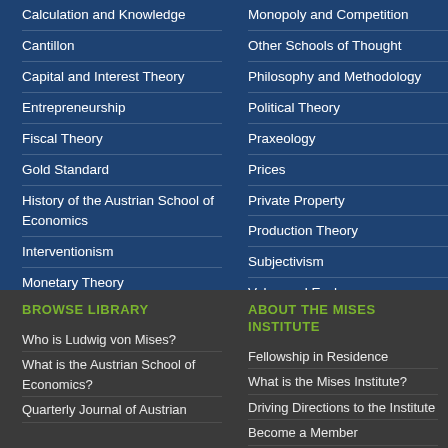Calculation and Knowledge
Cantillon
Capital and Interest Theory
Entrepreneurship
Fiscal Theory
Gold Standard
History of the Austrian School of Economics
Interventionism
Monetary Theory
Monopoly and Competition
Other Schools of Thought
Philosophy and Methodology
Political Theory
Praxeology
Prices
Private Property
Production Theory
Subjectivism
Value and Exchange
BROWSE LIBRARY
Who is Ludwig von Mises?
What is the Austrian School of Economics?
Quarterly Journal of Austrian
ABOUT THE MISES INSTITUTE
Fellowship in Residence
What is the Mises Institute?
Driving Directions to the Institute
Become a Member